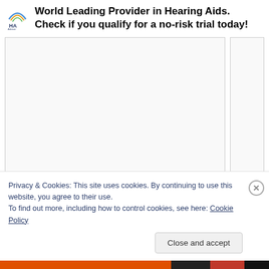[Figure (logo): Hearing Aid Advisor logo — small icon with rainbow arc above 'HA' letters and text 'Hearing Aid Advisor']
World Leading Provider in Hearing Aids. Check if you qualify for a no-risk trial today!
[Figure (screenshot): Two blank/loading content panels side by side]
Privacy & Cookies: This site uses cookies. By continuing to use this website, you agree to their use.
To find out more, including how to control cookies, see here: Cookie Policy
Close and accept